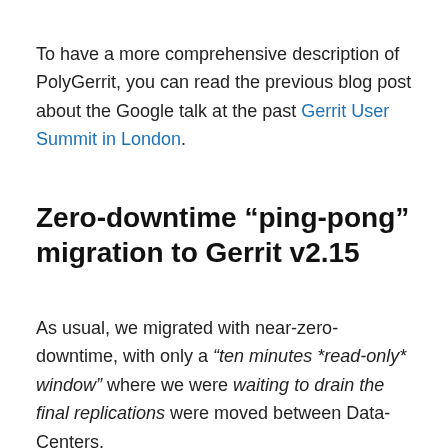To have a more comprehensive description of PolyGerrit, you can read the previous blog post about the Google talk at the past Gerrit User Summit in London.
Zero-downtime “ping-pong” migration to Gerrit v2.15
As usual, we migrated with near-zero-downtime, with only a “ten minutes *read-only* window” where we were waiting to drain the final replications were moved between Data-Centers.
There are two Data-Centers (DC) active for GerritHub.io; the main one is hosted in Canada and the